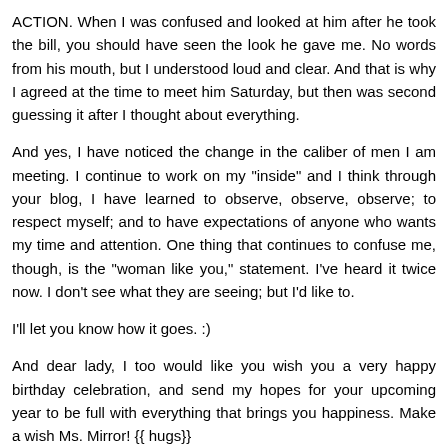ACTION. When I was confused and looked at him after he took the bill, you should have seen the look he gave me. No words from his mouth, but I understood loud and clear. And that is why I agreed at the time to meet him Saturday, but then was second guessing it after I thought about everything.
And yes, I have noticed the change in the caliber of men I am meeting. I continue to work on my "inside" and I think through your blog, I have learned to observe, observe, observe; to respect myself; and to have expectations of anyone who wants my time and attention. One thing that continues to confuse me, though, is the "woman like you," statement. I've heard it twice now. I don't see what they are seeing; but I'd like to.
I'll let you know how it goes. :)
And dear lady, I too would like you wish you a very happy birthday celebration, and send my hopes for your upcoming year to be full with everything that brings you happiness. Make a wish Ms. Mirror! {{ hugs}}